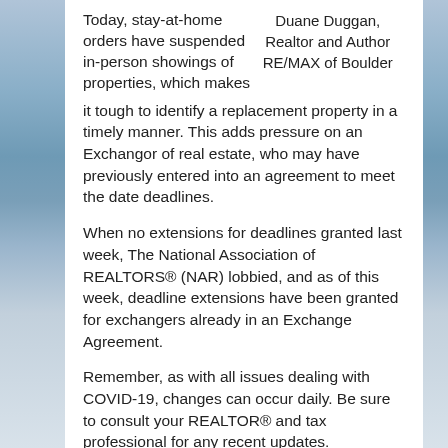Today, stay-at-home orders have suspended in-person showings of properties, which makes it tough to identify a replacement property in a timely manner. This adds pressure on an Exchangor of real estate, who may have previously entered into an agreement to meet the date deadlines.
Duane Duggan, Realtor and Author RE/MAX of Boulder
When no extensions for deadlines granted last week, The National Association of REALTORS® (NAR) lobbied, and as of this week, deadline extensions have been granted for exchangers already in an Exchange Agreement.
Remember, as with all issues dealing with COVID-19, changes can occur daily. Be sure to consult your REALTOR® and tax professional for any recent updates.
What is a 1031 Exchange?
A 1031 Exchange is a transaction in which the IRS